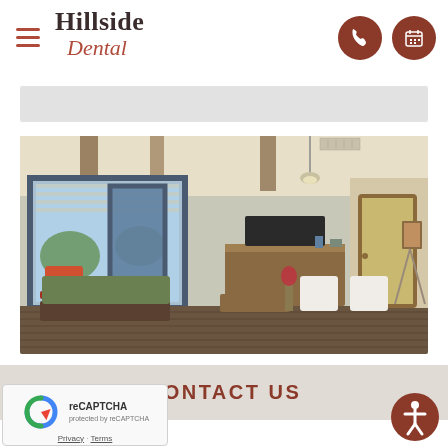Hillside Dental
[Figure (photo): Interior of Hillside Dental office waiting room showing reception desk, seating area with white chairs and green sofa, wooden floors, large front windows with blue frames, pendant light, and wood beam ceiling accents.]
CONTACT US
[Figure (logo): reCAPTCHA widget with Privacy and Terms links]
[Figure (illustration): Accessibility icon - circular dark red button with person/wheelchair symbol]